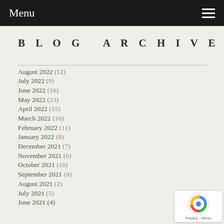Menu
BLOG ARCHIVE
August 2022 (12)
July 2022 (9)
June 2022 (16)
May 2022 (23)
April 2022 (15)
March 2022 (10)
February 2022 (11)
January 2022 (8)
December 2021 (7)
November 2021 (6)
October 2021 (18)
September 2021 (9)
August 2021 (2)
July 2021 (5)
June 2021 (4)